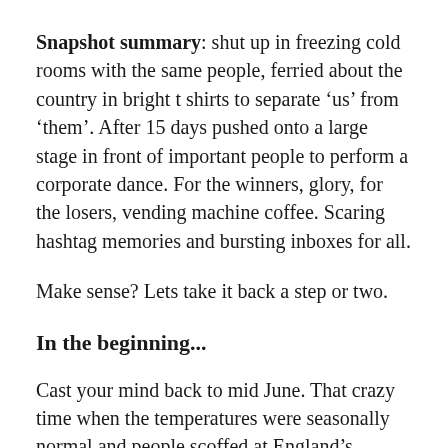Snapshot summary: shut up in freezing cold rooms with the same people, ferried about the country in bright t shirts to separate 'us' from 'them'. After 15 days pushed onto a large stage in front of important people to perform a corporate dance. For the winners, glory, for the losers, vending machine coffee. Scaring hashtag memories and bursting inboxes for all.
Make sense? Lets take it back a step or two.
In the beginning...
Cast your mind back to mid June. That crazy time when the temperatures were seasonally normal and people scoffed at England's chances in the World Cup. Myself, alongside all those on